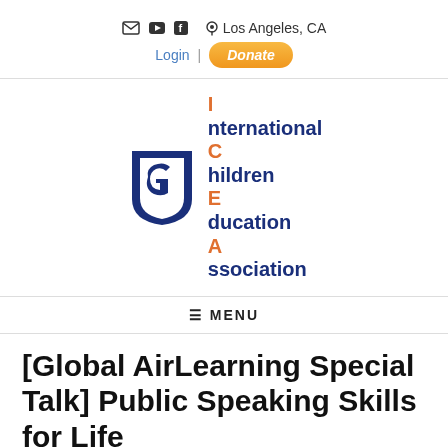✉ ▶ f  📍 Los Angeles, CA  Login | Donate
[Figure (logo): International Children Education Association (ICEA) logo with shield emblem in dark blue and text with colored first letters in orange]
≡ MENU
[Global AirLearning Special Talk] Public Speaking Skills for Life
Posted on June 4, 2021 by fgadmin
Class Instruction
[More class instruction (such as Class Location or...